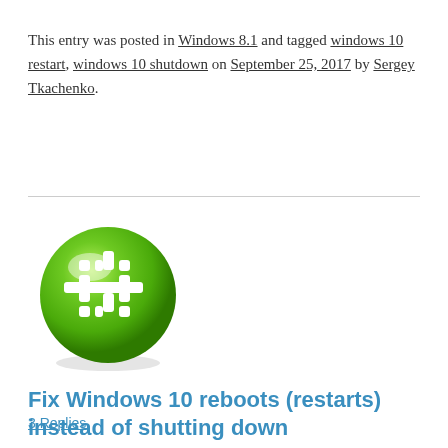This entry was posted in Windows 8.1 and tagged windows 10 restart, windows 10 shutdown on September 25, 2017 by Sergey Tkachenko.
[Figure (logo): Green 3D sphere icon with a white grid/hashtag symbol (Slack-like logo) on a white background with slight shadow]
Fix Windows 10 reboots (restarts) instead of shutting down
3 Replies